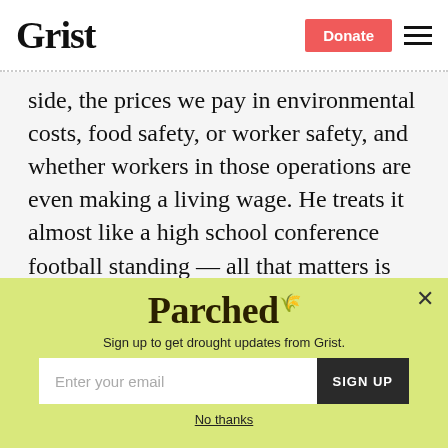Grist | Donate
side, the prices we pay in environmental costs, food safety, or worker safety, and whether workers in those operations are even making a living wage. He treats it almost like a high school conference football standing — all that matters is that we're No. 1 in commodity ag production.
[Figure (screenshot): Popup newsletter signup widget with yellow-green background. Title reads 'Parched' in large serif font. Subtitle: 'Sign up to get drought updates from Grist.' Email input field and SIGN UP button. 'No thanks' link at bottom. Close (×) button at top right.]